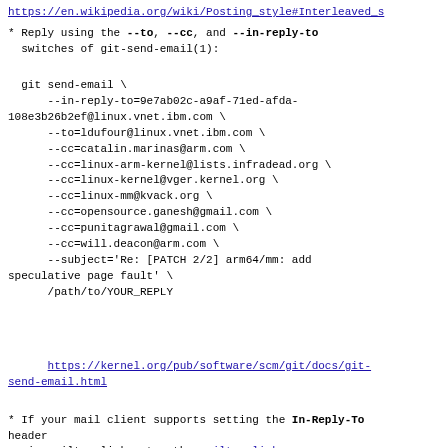https://en.wikipedia.org/wiki/Posting_style#Interleaved_s
* Reply using the --to, --cc, and --in-reply-to switches of git-send-email(1):

  git send-email \
      --in-reply-to=9e7ab02c-a9af-71ed-afda-108e3b26b2ef@linux.vnet.ibm.com \
      --to=ldufour@linux.vnet.ibm.com \
      --cc=catalin.marinas@arm.com \
      --cc=linux-arm-kernel@lists.infradead.org \
      --cc=linux-kernel@vger.kernel.org \
      --cc=linux-mm@kvack.org \
      --cc=opensource.ganesh@gmail.com \
      --cc=punitagrawal@gmail.com \
      --cc=will.deacon@arm.com \
      --subject='Re: [PATCH 2/2] arm64/mm: add speculative page fault' \
      /path/to/YOUR_REPLY
https://kernel.org/pub/software/scm/git/docs/git-send-email.html
* If your mail client supports setting the In-Reply-To header
  via mailto: links, try the mailto: link
This is a public inbox, see mirroring instructions